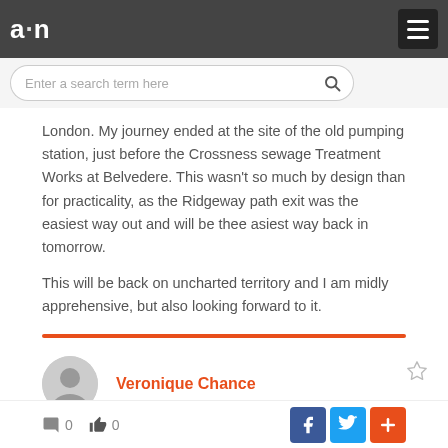a·n [logo] with hamburger menu
Enter a search term here
London. My journey ended at the site of the old pumping station, just before the Crossness sewage Treatment Works at Belvedere. This wasn't so much by design than for practicality, as the Ridgeway path exit was the easiest way out and will be thee asiest way back in tomorrow.
This will be back on uncharted territory and I am midly apprehensive, but also looking forward to it.
Veronique Chance
0 comments  0 likes  Facebook Twitter +